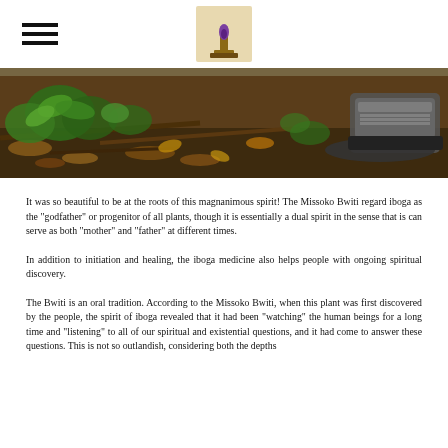[hamburger menu icon] [logo]
[Figure (photo): Close-up photograph of forest floor with green plants, dried leaves, soil, wooden sticks, and a person's shoe/boot visible at the right edge.]
It was so beautiful to be at the roots of this magnanimous spirit! The Missoko Bwiti regard iboga as the "godfather" or progenitor of all plants, though it is essentially a dual spirit in the sense that is can serve as both "mother" and "father" at different times.
In addition to initiation and healing, the iboga medicine also helps people with ongoing spiritual discovery.
The Bwiti is an oral tradition. According to the Missoko Bwiti, when this plant was first discovered by the people, the spirit of iboga revealed that it had been "watching" the human beings for a long time and "listening" to all of our spiritual and existential questions, and it had come to answer these questions. This is not so outlandish, considering both the depths